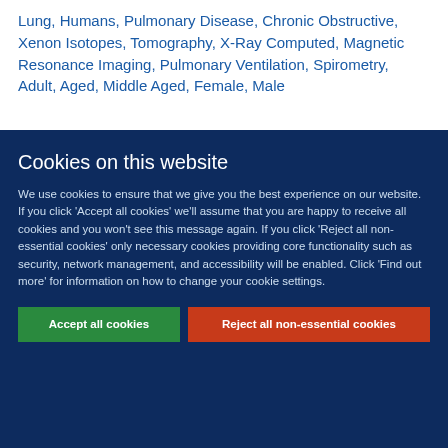Lung, Humans, Pulmonary Disease, Chronic Obstructive, Xenon Isotopes, Tomography, X-Ray Computed, Magnetic Resonance Imaging, Pulmonary Ventilation, Spirometry, Adult, Aged, Middle Aged, Female, Male
Cookies on this website
We use cookies to ensure that we give you the best experience on our website. If you click 'Accept all cookies' we'll assume that you are happy to receive all cookies and you won't see this message again. If you click 'Reject all non-essential cookies' only necessary cookies providing core functionality such as security, network management, and accessibility will be enabled. Click 'Find out more' for information on how to change your cookie settings.